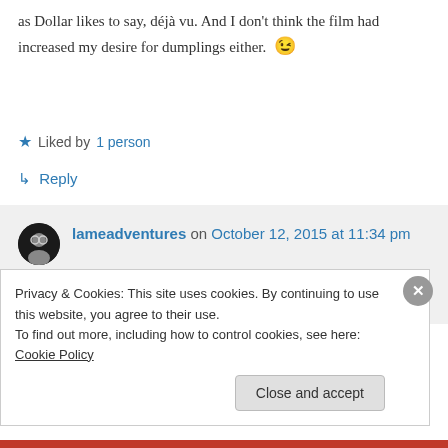as Dollar likes to say, déjà vu. And I don't think the film had increased my desire for dumplings either. 😉
Liked by 1 person
↳ Reply
lameadventures on October 12, 2015 at 11:34 pm
Thanks for sharing — Art found me still Artist
Privacy & Cookies: This site uses cookies. By continuing to use this website, you agree to their use. To find out more, including how to control cookies, see here: Cookie Policy
Close and accept